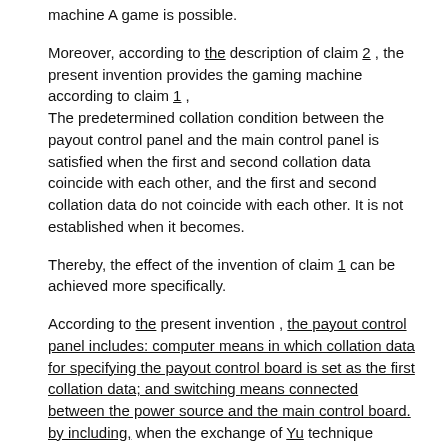machine A game is possible.
Moreover, according to the description of claim 2, the present invention provides the gaming machine according to claim 1,
The predetermined collation condition between the payout control panel and the main control panel is satisfied when the first and second collation data coincide with each other, and the first and second collation data do not coincide with each other. It is not established when it becomes.
Thereby, the effect of the invention of claim 1 can be achieved more specifically.
According to the present invention, the payout control panel includes: computer means in which collation data for specifying the payout control board is set as the first collation data; and switching means connected between the power source and the main control board. by including, when the exchange of Yu technique machine, when a predetermined matching condition between the payout control panel and the main control board based on the second collating data from the first verification data and